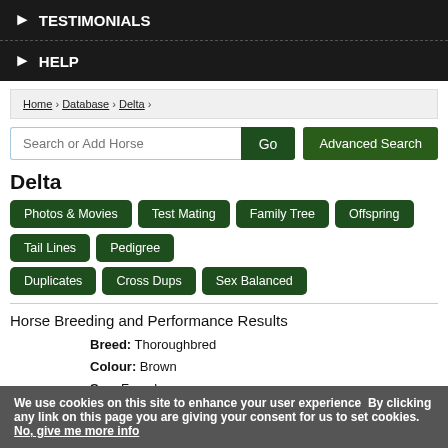TESTIMONIALS
HELP
Home › Database › Delta ›
Search or Add Horse  Go  Advanced Search
Delta
Photos & Movies
Test Mating
Family Tree
Offspring
Tail Lines
Pedigree
Duplicates
Cross Dups
Sex Balanced
Horse Breeding and Performance Results
Breed: Thoroughbred
Colour: Brown
Sex: Female
We use cookies on this site to enhance your user experience  By clicking any link on this page you are giving your consent for us to set cookies. No, give me more info